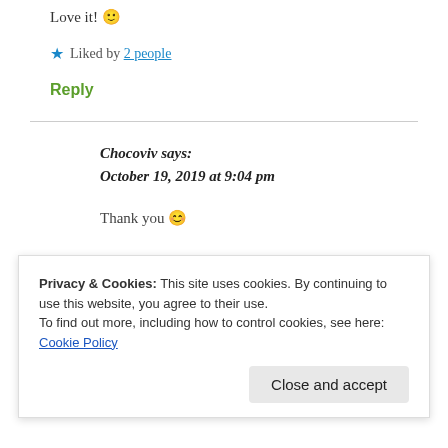Love it! 🙂
★ Liked by 2 people
Reply
Chocoviv says: October 19, 2019 at 9:04 pm
Thank you 😊
Privacy & Cookies: This site uses cookies. By continuing to use this website, you agree to their use.
To find out more, including how to control cookies, see here: Cookie Policy
Close and accept